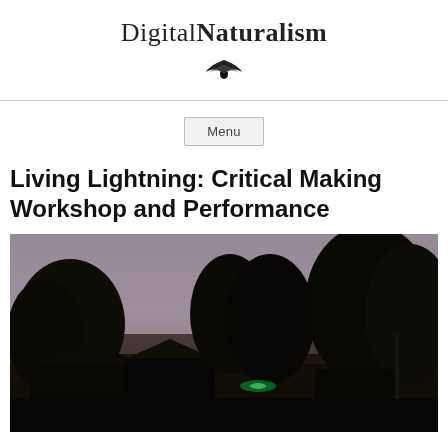DigitalNaturalism
[Figure (logo): DigitalNaturalism logo — a stylized dark wing/bird emblem in a circle]
Menu
Living Lightning: Critical Making Workshop and Performance
[Figure (photo): Night/dusk outdoor photograph showing dark silhouettes of trees and low buildings against a pale purple-grey sky, with a faint green light visible near the center-left of the scene]